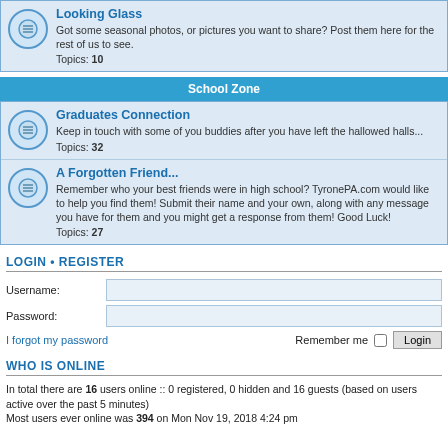Looking Glass
Got some seasonal photos, or pictures you want to share? Post them here for the rest of us to see.
Topics: 10
School Zone
Graduates Connection
Keep in touch with some of you buddies after you have left the hallowed halls...
Topics: 32
A Forgotten Friend...
Remember who your best friends were in high school? TyronePA.com would like to help you find them! Submit their name and your own, along with any message you have for them and you might get a response from them! Good Luck!
Topics: 27
LOGIN • REGISTER
Username:
Password:
I forgot my password
Remember me
WHO IS ONLINE
In total there are 16 users online :: 0 registered, 0 hidden and 16 guests (based on users active over the past 5 minutes)
Most users ever online was 394 on Mon Nov 19, 2018 4:24 pm